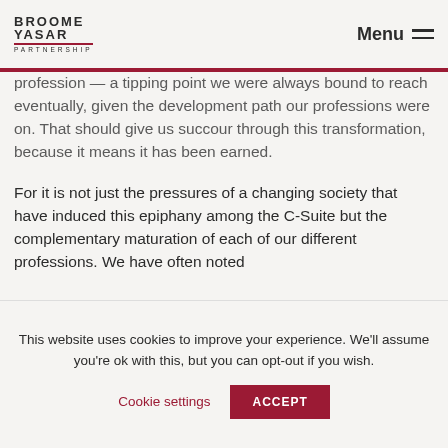BROOME YASAR PARTNERSHIP | Menu
profession — a tipping point we were always bound to reach eventually, given the development path our professions were on. That should give us succour through this transformation, because it means it has been earned.
For it is not just the pressures of a changing society that have induced this epiphany among the C-Suite but the complementary maturation of each of our different professions. We have often noted
This website uses cookies to improve your experience. We'll assume you're ok with this, but you can opt-out if you wish.
Cookie settings | ACCEPT